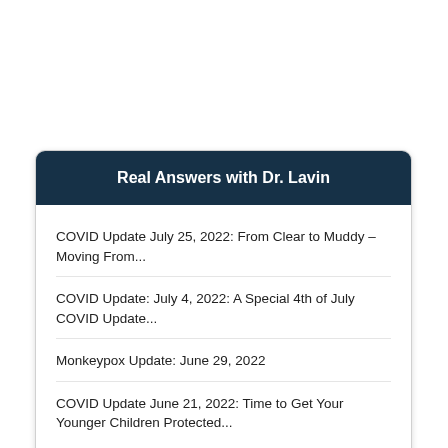Real Answers with Dr. Lavin
COVID Update July 25, 2022: From Clear to Muddy – Moving From...
COVID Update: July 4, 2022: A Special 4th of July COVID Update...
Monkeypox Update: June 29, 2022
COVID Update June 21, 2022: Time to Get Your Younger Children Protected...
See All...